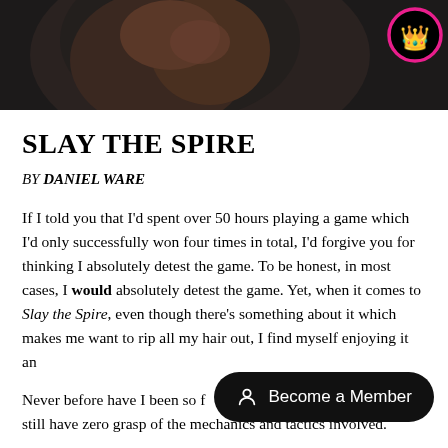[Figure (photo): Cropped game screenshot showing a dark fantasy scene, partially visible. A pink-bordered black circular badge with a crown emoji appears in the upper right corner.]
SLAY THE SPIRE
BY DANIEL WARE
If I told you that I'd spent over 50 hours playing a game which I'd only successfully won four times in total, I'd forgive you for thinking I absolutely detest the game. To be honest, in most cases, I would absolutely detest the game. Yet, when it comes to Slay the Spire, even though there's something about it which makes me want to rip all my hair out, I find myself enjoying it an
Never before have I been so f still have zero grasp of the mechanics and tactics involved.